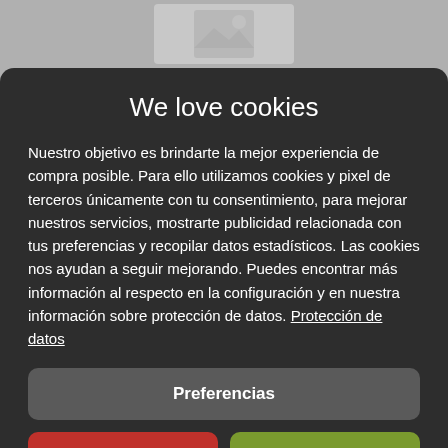[Figure (illustration): Blurred/placeholder image thumbnail behind the cookie consent modal]
We love cookies
Nuestro objetivo es brindarte la mejor experiencia de compra posible. Para ello utilizamos cookies y pixel de terceros únicamente con tu consentimiento, para mejorar nuestros servicios, mostrarte publicidad relacionada con tus preferencias y recopilar datos estadísticos. Las cookies nos ayudan a seguir mejorando. Puedes encontrar más información al respecto en la configuración y en nuestra información sobre protección de datos. Protección de datos
Preferencias
Rechazar todo
Aceptar todo